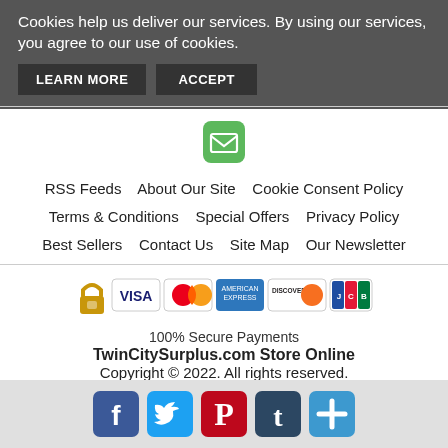Cookies help us deliver our services. By using our services, you agree to our use of cookies.
LEARN MORE   ACCEPT
[Figure (other): Green rounded square email envelope icon]
RSS Feeds   About Our Site   Cookie Consent Policy   Terms & Conditions   Special Offers   Privacy Policy   Best Sellers   Contact Us   Site Map   Our Newsletter
[Figure (other): Payment method icons: lock, VISA, MasterCard, American Express, Discover, JCB]
100% Secure Payments
TwinCitySurplus.com Store Online
Copyright © 2022. All rights reserved.
TwinCitySurplus.com Store Online is a participant in the Amazon Services LLC Associates Program, an affiliate advertising program designed to provide a means for sites to earn advertising fees by advertising and linking to Amazon.com, Endless.com, MYHABIT.com, SmallParts.com, or
[Figure (other): Social media icons: Facebook (blue), Twitter (blue), Pinterest (red), Tumblr (dark), share/plus (blue)]